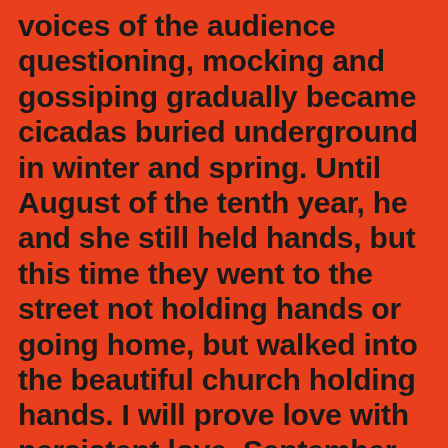voices of the audience questioning, mocking and gossiping gradually became cicadas buried underground in winter and spring. Until August of the tenth year, he and she still held hands, but this time they went to the street not holding hands or going home, but walked into the beautiful church holding hands. I will prove love with persistent love. September autumn and so on, I only hope that you can be happy no matter how, and there will never be sadness. The wish that I have never said but never been abandoned. I want to be with you. Please allow me for the rest of my life, always, always, love you, love you, cherish you, kiss